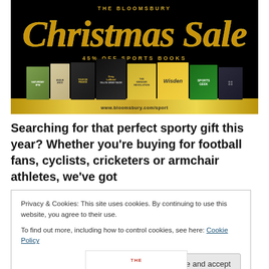[Figure (illustration): The Bloomsbury Christmas Sale banner. Black background with gold glitter text reading 'THE BLOOMSBURY Christmas Sale' and '45% OFF SPORTS BOOKS'. Shows a row of sports book covers including Greg LeMond, The Wenger Revolution, Wisden, Sports Geek, and others. Gold glitter strip at bottom with URL www.bloomsbury.com/sport.]
Searching for that perfect sporty gift this year? Whether you're buying for football fans, cyclists, cricketers or armchair athletes, we've got
Privacy & Cookies: This site uses cookies. By continuing to use this website, you agree to their use.
To find out more, including how to control cookies, see here: Cookie Policy